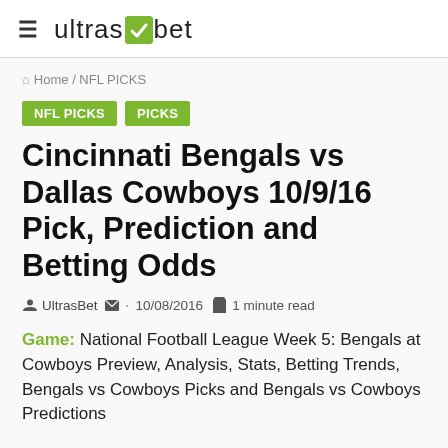≡ ultrasbet
Home / NFL PICKS
NFL PICKS
PICKS
Cincinnati Bengals vs Dallas Cowboys 10/9/16 Pick, Prediction and Betting Odds
UltrasBet · 10/08/2016 1 minute read
Game: National Football League Week 5: Bengals at Cowboys Preview, Analysis, Stats, Betting Trends, Bengals vs Cowboys Picks and Bengals vs Cowboys Predictions